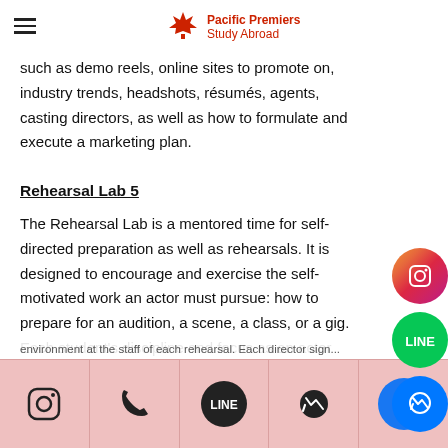Pacific Premiere Study Abroad
such as demo reels, online sites to promote on, industry trends, headshots, résumés, agents, casting directors, as well as how to formulate and execute a marketing plan.
Rehearsal Lab 5
The Rehearsal Lab is a mentored time for self-directed preparation as well as rehearsals. It is designed to encourage and exercise the self-motivated work an actor must pursue: how to prepare for an audition, a scene, a class, or a gig. Each student's discipline and focus as an actor develop through practice as they work on projects, scripts, and auditions that need to be prepared and rehearsed for class. While some of this work happens
environment at the staff of each rehearsal. Each director sign...